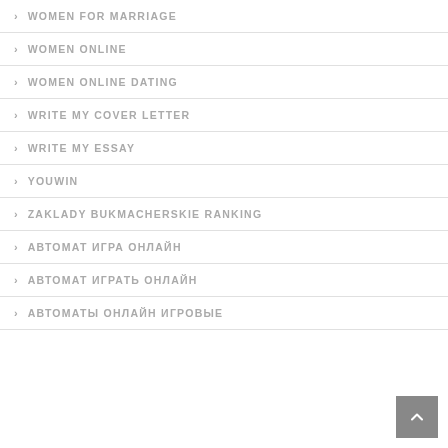WOMEN FOR MARRIAGE
WOMEN ONLINE
WOMEN ONLINE DATING
WRITE MY COVER LETTER
WRITE MY ESSAY
YOUWIN
ZAKLADY BUKMACHERSKIE RANKING
АВТОМАТ ИГРА ОНЛАЙН
АВТОМАТ ИГРАТЬ ОНЛАЙН
АВТОМАТЫ ОНЛАЙН ИГРОВЫЕ